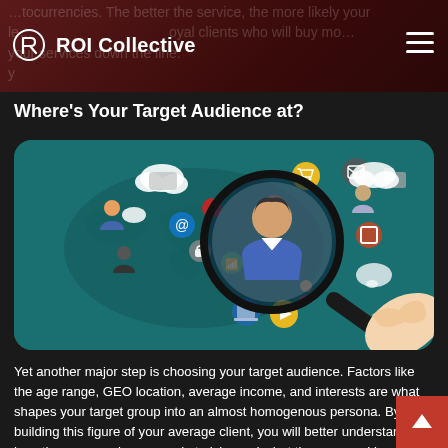ROI Collective
…tocurrencies. The better the service, the more likely your le… loyal clients who will buy mo… your services down the line.
Where's Your Target Audience at?
[Figure (illustration): Illustration of a hand holding a magnifying glass over a stylized world map, focusing on a person avatar in the center. Surrounding the map are social media and digital marketing icons: chat bubbles, a shopping cart, an email envelope, a folder, a wifi symbol, a location pin, a padlock, an at sign, a camera, and several people avatars.]
Yet another major step is choosing your target audience. Factors like the age range, GEO location, average income, and interests are what shapes your target group into an almost homogenous persona. By building this figure of your average client, you will better understand how they approach your market niche and what they are seeking to achieve when they sign up for your services.